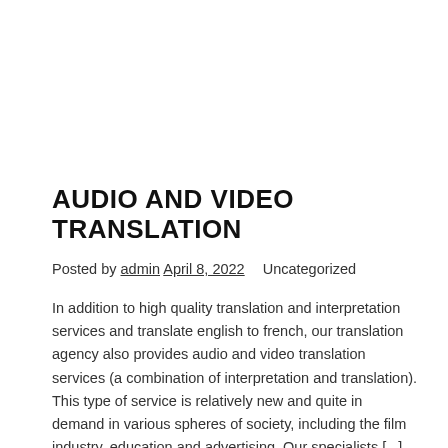AUDIO AND VIDEO TRANSLATION
Posted by admin April 8, 2022   Uncategorized
In addition to high quality translation and interpretation services and translate english to french, our translation agency also provides audio and video translation services (a combination of interpretation and translation). This type of service is relatively new and quite in demand in various spheres of society, including the film industry, education and advertising. Our specialists [...]